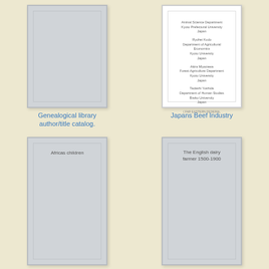[Figure (illustration): Book cover thumbnail - plain gray cover for Genealogical library author/title catalog]
Genealogical library author/title catalog.
[Figure (illustration): Book cover thumbnail - white cover with small text for Japans Beef Industry]
Japans Beef Industry
[Figure (illustration): Book cover thumbnail - gray cover with text 'Africas children' for Africas children]
Africas children
[Figure (illustration): Book cover thumbnail - gray cover with text 'The English dairy farmer 1500-1900']
The English dairy farmer 1500-1900